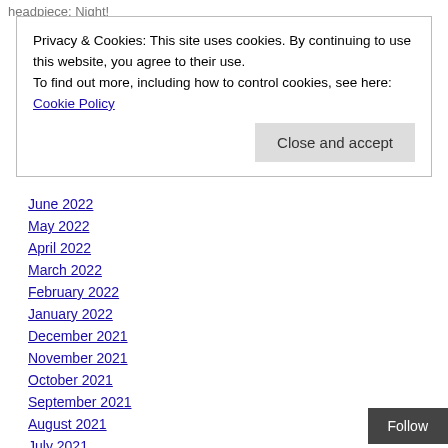headpiece: Night!
Privacy & Cookies: This site uses cookies. By continuing to use this website, you agree to their use.
To find out more, including how to control cookies, see here: Cookie Policy
June 2022
May 2022
April 2022
March 2022
February 2022
January 2022
December 2021
November 2021
October 2021
September 2021
August 2021
July 2021
June 2021